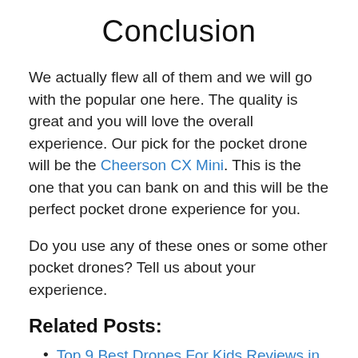Conclusion
We actually flew all of them and we will go with the popular one here. The quality is great and you will love the overall experience. Our pick for the pocket drone will be the Cheerson CX Mini. This is the one that you can bank on and this will be the perfect pocket drone experience for you.
Do you use any of these ones or some other pocket drones? Tell us about your experience.
Related Posts:
Top 9 Best Drones For Kids Reviews in